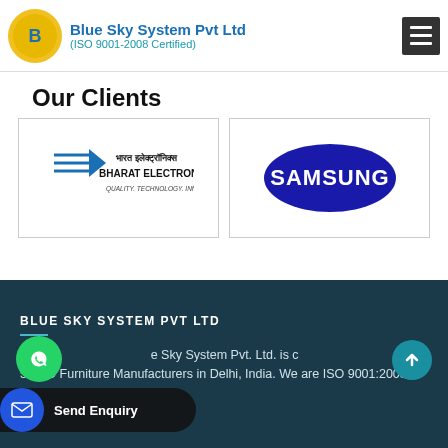Blue Sky System Pvt Ltd (ISO 9001-2008 Certified)
Our Clients
[Figure (logo): Bharat Electronics logo with Hindi text, tagline QUALITY. TECHNOLOGY. INNOVATION.]
[Figure (logo): Samsung logo — white SAMSUNG text on dark blue oval]
BLUE SKY SYSTEM PVT LTD

Established in 1999, Blue Sky System Pvt. Ltd. is counted among the top 5 ESD Furniture Manufacturers in Delhi, India. We are ISO 9001:2008 Certified.